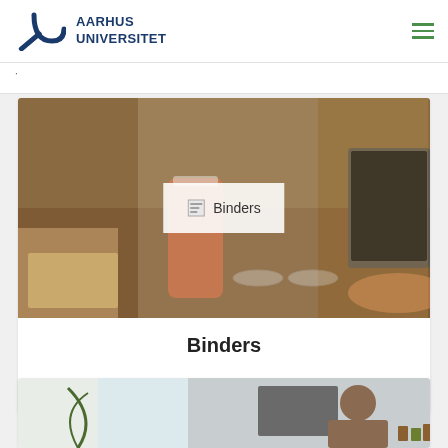[Figure (logo): Aarhus Universitet logo with stylized AU symbol in dark blue and text 'AARHUS UNIVERSITET']
[Figure (photo): Banner photo showing people working at a wooden table with drinks and laptops, with a 'Binders' logo overlay in center]
Binders
0 positions   38 followers   Follow
[Figure (photo): Partial view of another card showing an office/workspace photo]